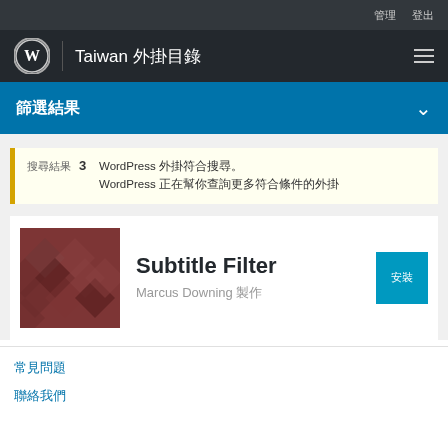管理 | 登出
Taiwan 外掛目錄
篩選結果
搜尋結果 3 WordPress 外掛符合搜尋。WordPress 正在幫你查詢更多符合條件的外掛
Subtitle Filter
Marcus Downing 製作
安裝
常見問題
聯絡我們